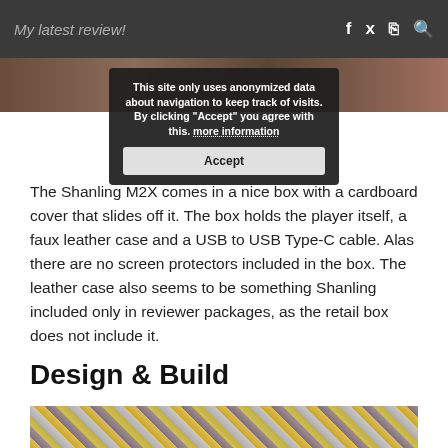My latest review!
[Figure (photo): Top image strip showing a product on a wooden surface]
This site only uses anonymized data about navigation to keep track of visits. By clicking "Accept" you agree with this. more information [Accept button]
The Shanling M2X comes in a nice box with a cardboard cover that slides off it. The box holds the player itself, a faux leather case and a USB to USB Type-C cable. Alas there are no screen protectors included in the box. The leather case also seems to be something Shanling included only in reviewer packages, as the retail box does not include it.
Design & Build
[Figure (photo): Bottom image showing a plaid/tartan fabric with a device on it]